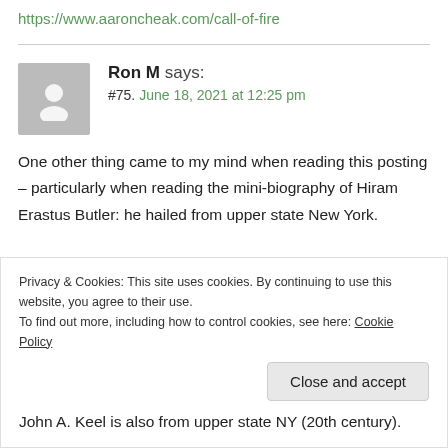https://www.aaroncheak.com/call-of-fire
Ron M says:
#75. June 18, 2021 at 12:25 pm
One other thing came to my mind when reading this posting – particularly when reading the mini-biography of Hiram Erastus Butler: he hailed from upper state New York.
Question: what IS it about 19th century upper state NY and
Privacy & Cookies: This site uses cookies. By continuing to use this website, you agree to their use.
To find out more, including how to control cookies, see here: Cookie Policy
Close and accept
John A. Keel is also from upper state NY (20th century).